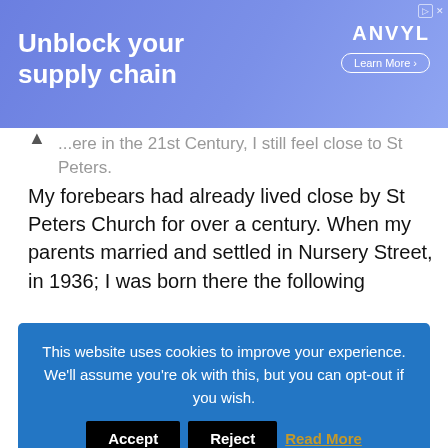[Figure (screenshot): Advertisement banner with gradient blue/purple background. Text reads 'Unblock your supply chain' in white bold font. ANVYL brand logo top right with 'Learn More' button. Small ad corner icon top right.]
...ere in the 21st Century, I still feel close to St Peters. My forebears had already lived close by St Peters Church for over a century. When my parents married and settled in Nursery Street, in 1936; I was born there the following
This website uses cookies to improve your experience. We'll assume you're ok with this, but you can opt-out if you wish. Accept Reject Read More
Leave a comment
[Figure (photo): Black and white photograph showing a street scene with terraced houses/shops, awnings visible, and what appears to be a wet or flooded street. Appears to be a mid-20th century UK street scene near St Peters Church area.]